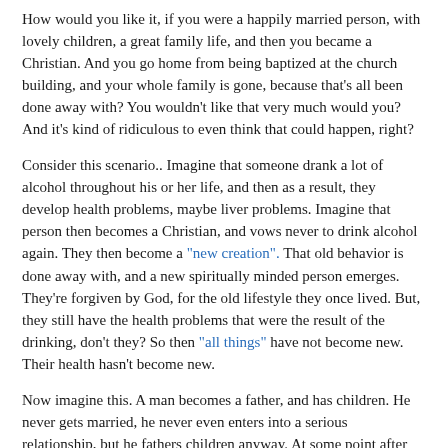How would you like it, if you were a happily married person, with lovely children, a great family life, and then you became a Christian.  And you go home from being baptized at the church building, and your whole family is gone, because that's all been done away with?   You wouldn't like that very much would you?  And it's kind of ridiculous to even think that could happen, right?
Consider this scenario..   Imagine that someone drank a lot of alcohol throughout his or her life, and then as a result, they develop health problems, maybe liver problems.  Imagine that person then becomes a Christian, and vows never to drink alcohol again.  They then become a "new creation".  That old behavior is done away with, and a new spiritually minded person emerges.  They're forgiven by God, for the old lifestyle they once lived.  But, they still have the health problems that were the result of the drinking, don't they?  So then "all things" have not become new.  Their health hasn't become new.
Now imagine this.  A man becomes a father, and has children.  He never gets married, he never even enters into a serious relationship, but he fathers children anyway.  At some point after that, he's born again, he becomes a Christian.  "The old has passed away, behold the